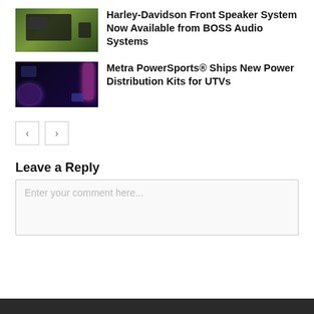[Figure (photo): Harley-Davidson motorcycle with camera/speaker equipment mounted, outdoors with green background]
Harley-Davidson Front Speaker System Now Available from BOSS Audio Systems
[Figure (photo): Audio equipment components with colorful stage lighting in dark background, featuring speakers and power distribution components]
Metra PowerSports® Ships New Power Distribution Kits for UTVs
« »
Leave a Reply
Enter your comment here...